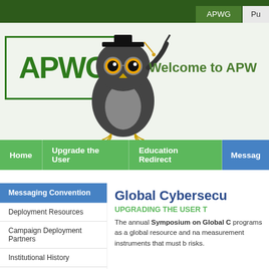APWG | Pu
[Figure (logo): APWG logo with green border and text, owl mascot wearing graduation cap]
Welcome to APW
Home | Upgrade the User | Education Redirect | Messag
Messaging Convention
Deployment Resources
Campaign Deployment Partners
Institutional History
Awareness Symposium
Global Cybersecu
UPGRADING THE USER T
The annual Symposium on Global C programs as a global resource and na measurement instruments that must b risks.